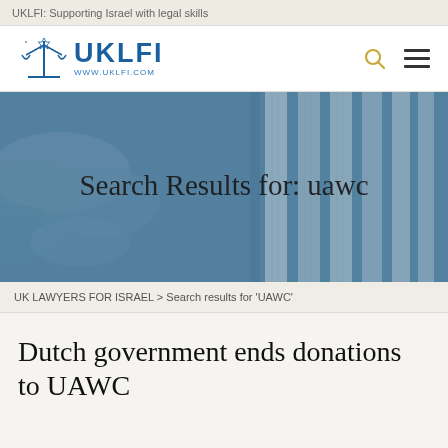UKLFI: Supporting Israel with legal skills
[Figure (logo): UKLFI logo with scales of justice icon and text UKLFI www.uklfi.com, with search and hamburger menu icons]
[Figure (photo): Hero banner image of classical building columns with blue tint overlay, containing text 'Search Results for: uawc']
UK LAWYERS FOR ISRAEL > Search results for 'UAWC'
Dutch government ends donations to UAWC